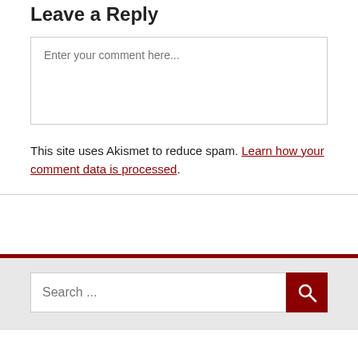Leave a Reply
Enter your comment here...
This site uses Akismet to reduce spam. Learn how your comment data is processed.
Search ...
FOLLOW US VIA EMAIL